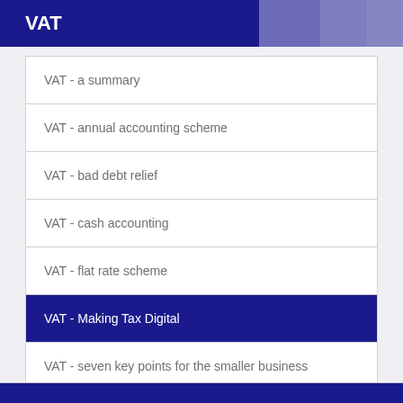VAT
VAT - a summary
VAT - annual accounting scheme
VAT - bad debt relief
VAT - cash accounting
VAT - flat rate scheme
VAT - Making Tax Digital
VAT - seven key points for the smaller business